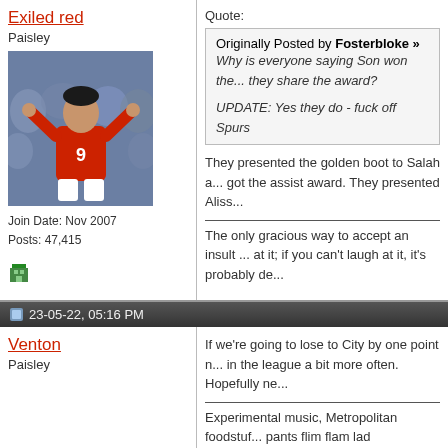Exiled red
Paisley
[Figure (photo): Avatar photo of a soccer player wearing red shirt number 9 with arms raised]
Join Date: Nov 2007
Posts: 47,415
[Figure (illustration): Small pixel art green character icon]
Quote:
Originally Posted by Fosterbloke »
Why is everyone saying Son won the... they share the award?

UPDATE: Yes they do - fuck off Spurs
They presented the golden boot to Salah a... got the assist award. They presented Aliss...
The only gracious way to accept an insult ... at it; if you can't laugh at it, it's probably de...
23-05-22, 05:16 PM
Venton
Paisley
If we're going to lose to City by one point n... in the league a bit more often. Hopefully ne...
Experimental music, Metropolitan foodstuf... pants flim flam lad
Join Date: Sep 2006
Posts: 13,188